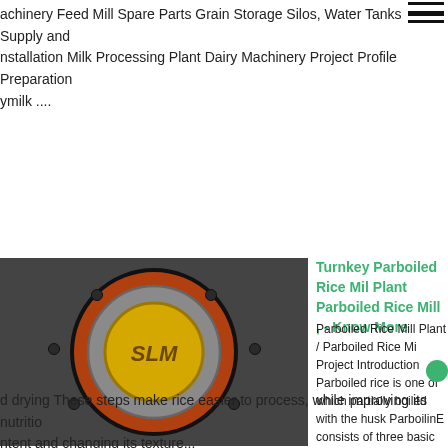Cold Storage Plant Turn Key Solution in Bangladesh Feed Processing Plant feed mill Machinery Feed Mill Spare Parts Grain Storage Silos, Water Tanks Supply and Installation Milk Processing Plant Dairy Machinery Project Profile Preparation dairymilk ....
[Figure (photo): Close-up of industrial milling machinery with yellow circular component and orange housing]
Turnkey Parboiled Rice Mill Plant Parboiled Rice Mill , - Know More
Parboiled Rice Mill Plant / Parboiled Rice Mill Project Introduction Parboiled rice is one of which partially boiled with the husk ParboilingE consists of three basic steps soaking, steam and drying These steps make rice easier to process, while improving its nutritio ntent and changing its texture...
[Figure (photo): Industrial rice mill facility interior with machinery and yellow equipment]
Rice mill screen - Know Mo
Rice mill screen March 15, 2020 We are a manufacturer producing different p...